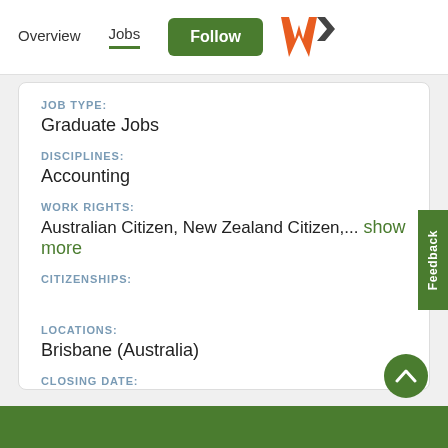Overview   Jobs   Follow
JOB TYPE: Graduate Jobs
DISCIPLINES: Accounting
WORK RIGHTS: Australian Citizen, New Zealand Citizen,... show more
CITIZENSHIPS:
LOCATIONS: Brisbane (Australia)
CLOSING DATE: 21st Jun 2022, 1:59 pm